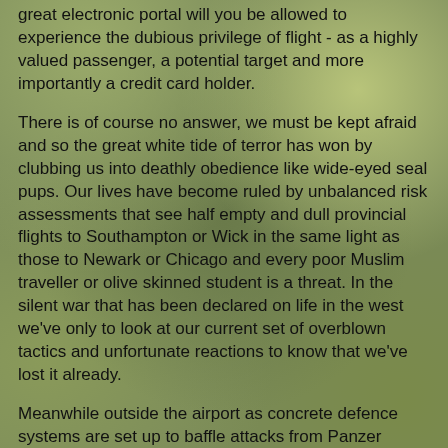great electronic portal will you be allowed to experience the dubious privilege of flight - as a highly valued passenger, a potential target and more importantly a credit card holder.
There is of course no answer, we must be kept afraid and so the great white tide of terror has won by clubbing us into deathly obedience like wide-eyed seal pups. Our lives have become ruled by unbalanced risk assessments that see half empty and dull provincial flights to Southampton or Wick in the same light as those to Newark or Chicago and every poor Muslim traveller or olive skinned student is a threat. In the silent war that has been declared on life in the west we've only to look at our current set of overblown tactics and unfortunate reactions to know that we've lost it already.
Meanwhile outside the airport as concrete defence systems are set up to baffle attacks from Panzer Tanks or low flying Kamikaze pilots, ordinary travellers struggle to pass through these monuments to construction company profits and so enter the shrine of the travel gods. So do we feel safe, fly happier and sleep any more soundly? Not really, it's only a mater of time until some extremist pulls his rusty and flaming